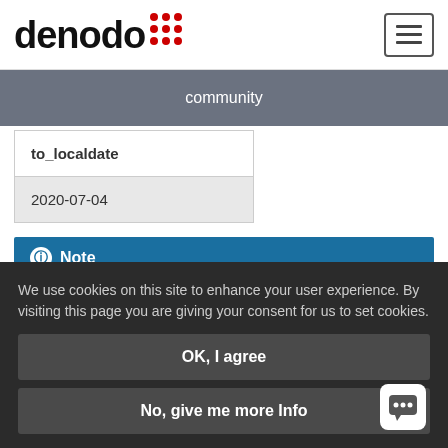denodo community
| to_localdate |
| 2020-07-04 |
Note
As defined by the Java class java.text.SimpleDateFormat, the parts of the date
We use cookies on this site to enhance your user experience. By visiting this page you are giving your consent for us to set cookies.
OK, I agree
No, give me more Info